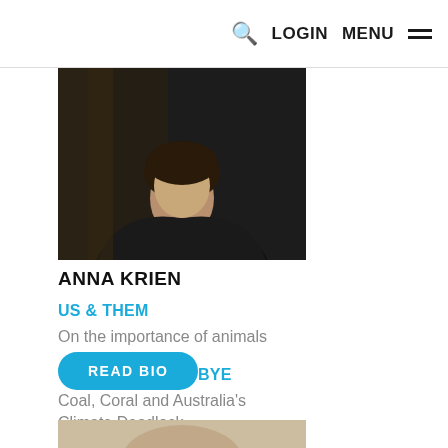🔍 LOGIN MENU ≡
[Figure (photo): Photo of Anna Krien, a person wearing a dark/black top, partially cropped at the top]
ANNA KRIEN
US & THEM
On the importance of animals
THE LONG GOODBYE
Coal, Coral and Australia's Climate Deadlock
READ BIO
[Figure (photo): Top of another person's photo, partially visible at the bottom of the page]